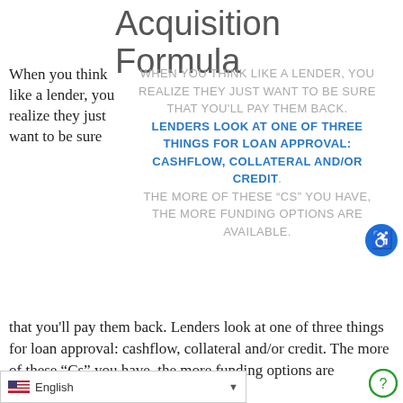Acquisition Formula
When you think like a lender, you realize they just want to be sure that you'll pay them back. Lenders look at one of three things for loan approval: cashflow, collateral and/or credit. The more of these "Cs" you have, the more funding options are available. For the we're showcasing
WHEN YOU THINK LIKE A LENDER, YOU REALIZE THEY JUST WANT TO BE SURE THAT YOU'LL PAY THEM BACK. LENDERS LOOK AT ONE OF THREE THINGS FOR LOAN APPROVAL: CASHFLOW, COLLATERAL AND/OR CREDIT. THE MORE OF THESE “CS” YOU HAVE, THE MORE FUNDING OPTIONS ARE AVAILABLE.
English